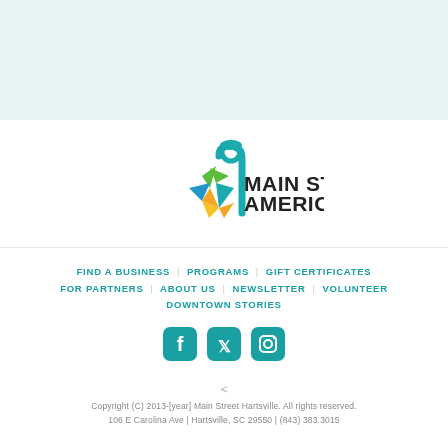[Figure (logo): Main Street America logo with colorful star/flower icon and street lamp in teal]
FIND A BUSINESS  PROGRAMS  GIFT CERTIFICATES
FOR PARTNERS  ABOUT US  NEWSLETTER  VOLUNTEER
DOWNTOWN STORIES
[Figure (infographic): Social media icons: Facebook, Twitter, Instagram in teal/rounded square style]
Copyright (C) 2013-[year] Main Street Hartsville. All rights reserved.
106 E Carolina Ave | Hartsville, SC 29550 | (843) 383.3015